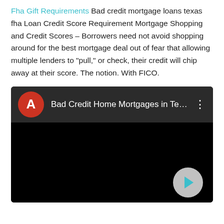Fha Gift Requirements Bad credit mortgage loans texas fha Loan Credit Score Requirement Mortgage Shopping and Credit Scores – Borrowers need not avoid shopping around for the best mortgage deal out of fear that allowing multiple lenders to "pull," or check, their credit will chip away at their score. The notion. With FICO.
[Figure (screenshot): A YouTube-style video player showing 'Bad Credit Home Mortgages in Te...' with a red avatar circle showing 'A', a three-dot menu icon, and a dark video body with a play button (teal triangle) in the bottom-right corner.]